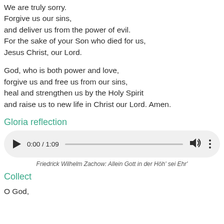We are truly sorry.
Forgive us our sins,
and deliver us from the power of evil.
For the sake of your Son who died for us,
Jesus Christ, our Lord.
God, who is both power and love,
forgive us and free us from our sins,
heal and strengthen us by the Holy Spirit
and raise us to new life in Christ our Lord. Amen.
Gloria reflection
[Figure (other): Audio player showing 0:00 / 1:09 with play button, progress bar, volume icon, and options menu]
Friedrick Wilhelm Zachow: Allein Gott in der Höh' sei Ehr'
Collect
O God,